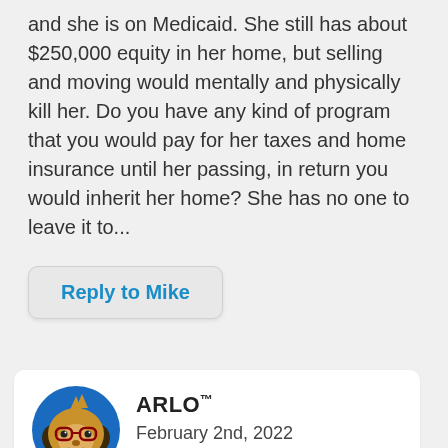and she is on Medicaid. She still has about $250,000 equity in her home, but selling and moving would mentally and physically kill her. Do you have any kind of program that you would pay for her taxes and home insurance until her passing, in return you would inherit her home? She has no one to leave it to...
Reply to Mike
[Figure (illustration): Cartoon dog avatar with blue circle background, wearing glasses, representing ARLO brand mascot]
ARLO™
February 2nd, 2022